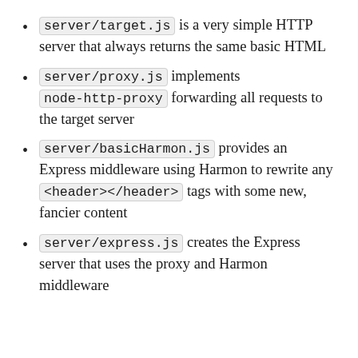server/target.js is a very simple HTTP server that always returns the same basic HTML
server/proxy.js implements node-http-proxy forwarding all requests to the target server
server/basicHarmon.js provides an Express middleware using Harmon to rewrite any <header></header> tags with some new, fancier content
server/express.js creates the Express server that uses the proxy and Harmon middleware